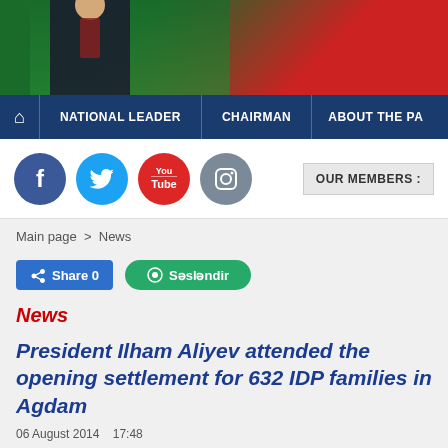[Figure (photo): Partial photo of a man in suit with flag background, cropped at top of page]
🏠  NATIONAL LEADER    CHAIRMAN    ABOUT THE PA
[Figure (infographic): Social media icons: Facebook (blue), Twitter (cyan), YouTube (red), Instagram (grey)]
OUR MEMBERS :
Main page > News
Share 0   Səsləndir
News
President Ilham Aliyev attended the opening settlement for 632 IDP families in Agdam
06 August 2014    17:48